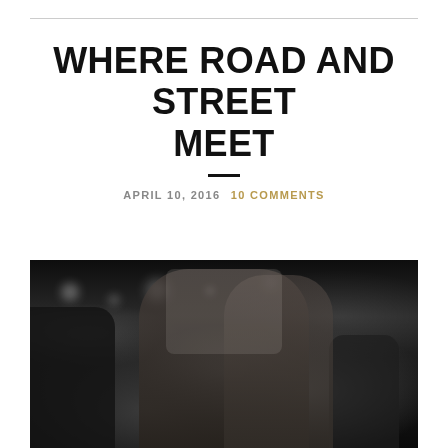WHERE ROAD AND STREET MEET
APRIL 10, 2016  10 COMMENTS
[Figure (photo): Black and white photograph of a couple kissing in a public street setting, with blurred background figures and bokeh lights]